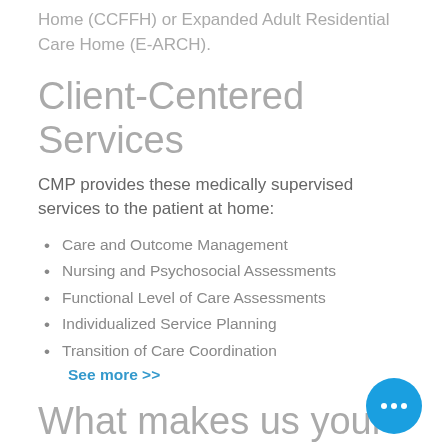Home (CCFFH) or Expanded Adult Residential Care Home (E-ARCH).
Client-Centered Services
CMP provides these medically supervised services to the patient at home:
Care and Outcome Management
Nursing and Psychosocial Assessments
Functional Level of Care Assessments
Individualized Service Planning
Transition of Care Coordination
See more >>
What makes us your choice?